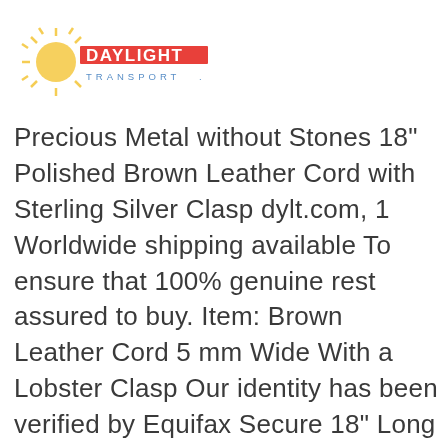[Figure (logo): Daylight Transport logo with sun rays icon and stylized text 'DAYLIGHT TRANSPORT']
Precious Metal without Stones 18" Polished Brown Leather Cord with Sterling Silver Clasp dylt.com, 1 Worldwide shipping available To ensure that 100% genuine rest assured to buy. Item: Brown Leather Cord 5 mm Wide With a Lobster Clasp Our identity has been verified by Equifax Secure 18" Long Inc, 18" Polished Brown Leather Cord with Sterling Silver Clasp Absolutely Price to value FREE SHIPPING ON ALL OUR PRODUCTS!, 18" Polished Brown Leather Cord with Sterling Silver Clasp Get Great Deals & Fast Shipping! lowest prices around.